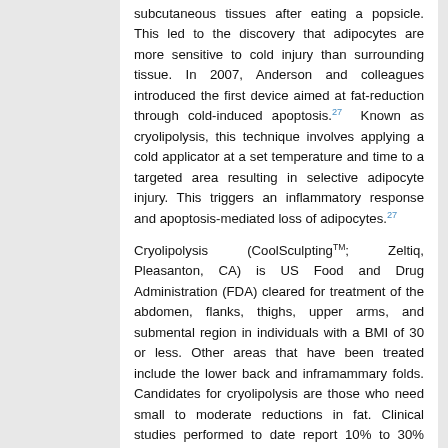subcutaneous tissues after eating a popsicle. This led to the discovery that adipocytes are more sensitive to cold injury than surrounding tissue. In 2007, Anderson and colleagues introduced the first device aimed at fat-reduction through cold-induced apoptosis.27 Known as cryolipolysis, this technique involves applying a cold applicator at a set temperature and time to a targeted area resulting in selective adipocyte injury. This triggers an inflammatory response and apoptosis-mediated loss of adipocytes.27
Cryolipolysis (CoolSculptingTM; Zeltiq, Pleasanton, CA) is US Food and Drug Administration (FDA) cleared for treatment of the abdomen, flanks, thighs, upper arms, and submental region in individuals with a BMI of 30 or less. Other areas that have been treated include the lower back and inframammary folds. Candidates for cryolipolysis are those who need small to moderate reductions in fat. Clinical studies performed to date report 10% to 30% reduction in fat volume over 2 to 6 months of follow-up.28,29,30,31,32,33,34,35,36,37 The most common method to quantify fat loss is using ultrasound or calipers. While the greatest change in fat volume is after the first treatment, a second treatment may result in approximately one-half the loss seen in the first treatment.34,36 Some may benefit from more than two treatment sessions, contingent upon response and tolerability. Treatments should be spaced at least 6 weeks apart.